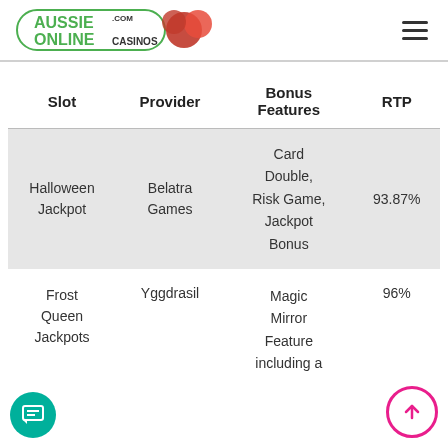Aussie Online Casinos .com
| Slot | Provider | Bonus Features | RTP |
| --- | --- | --- | --- |
| Halloween Jackpot | Belatra Games | Card Double, Risk Game, Jackpot Bonus | 93.87% |
| Frost Queen Jackpots | Yggdrasil | Magic Mirror Feature including a... | 96% |